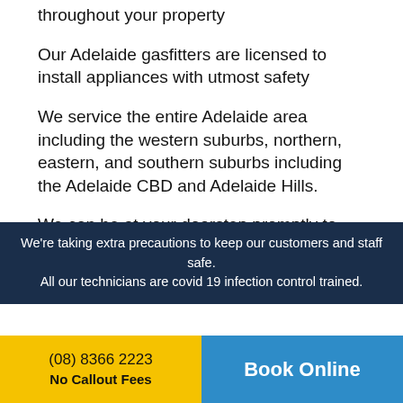throughout your property
Our Adelaide gasfitters are licensed to install appliances with utmost safety
We service the entire Adelaide area including the western suburbs, northern, eastern, and southern suburbs including the Adelaide CBD and Adelaide Hills.
We can be at your doorstep promptly to restore your plumbing and peace of mind.
Our plumbers are always upskilling with ongoing professional training ensuring that
We're taking extra precautions to keep our customers and staff safe. All our technicians are covid 19 infection control trained.
(08) 8366 2223
No Callout Fees
Book Online